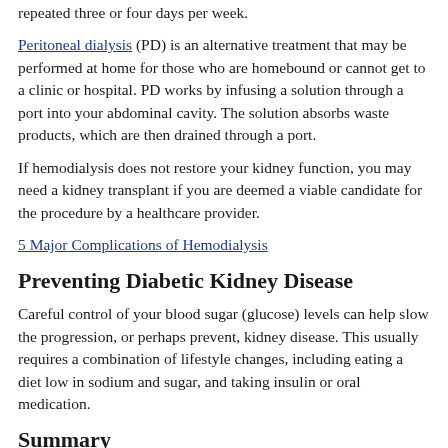repeated three or four days per week.
Peritoneal dialysis (PD) is an alternative treatment that may be performed at home for those who are homebound or cannot get to a clinic or hospital. PD works by infusing a solution through a port into your abdominal cavity. The solution absorbs waste products, which are then drained through a port.
If hemodialysis does not restore your kidney function, you may need a kidney transplant if you are deemed a viable candidate for the procedure by a healthcare provider.
5 Major Complications of Hemodialysis
Preventing Diabetic Kidney Disease
Careful control of your blood sugar (glucose) levels can help slow the progression, or perhaps prevent, kidney disease. This usually requires a combination of lifestyle changes, including eating a diet low in sodium and sugar, and taking insulin or oral medication.
Summary
High blood sugar levels that characterize diabetes can slowly